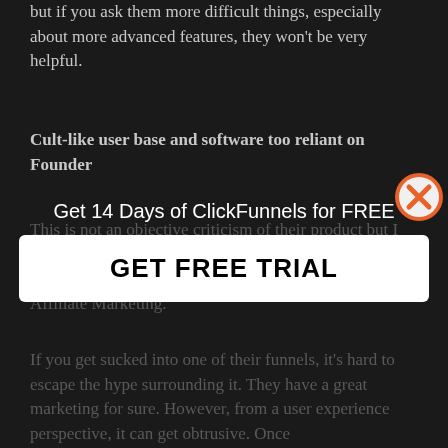but if you ask them more difficult things, especially about more advanced features, they won't be very helpful.
Cult-like user base and software too reliant on Founder
This is not an objective criticism of their product but I take a slight issue with their marketing that I think is worth mentioning if you plan to use ClickFunnels for Affiliate Marketing.
[Figure (screenshot): Popup overlay with orange/white X close button, text 'Get 14 Days of ClickFunnels for FREE', and a white button reading 'GET FREE TRIAL']
If you get sucked into one of their funnels, it's hard to escape the hype surrounding it. They have a great marketing for sure. However, from a user experience perspective, it can get obtrusive. Once